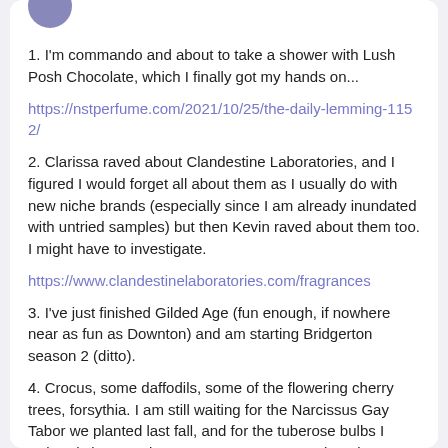[Figure (illustration): Partial view of a circular avatar/profile image in purple/lavender color at the top of a social media post card]
1. I'm commando and about to take a shower with Lush Posh Chocolate, which I finally got my hands on...
https://nstperfume.com/2021/10/25/the-daily-lemming-1152/
2. Clarissa raved about Clandestine Laboratories, and I figured I would forget all about them as I usually do with new niche brands (especially since I am already inundated with untried samples) but then Kevin raved about them too. I might have to investigate.
https://www.clandestinelaboratories.com/fragrances
3. I've just finished Gilded Age (fun enough, if nowhere near as fun as Downton) and am starting Bridgerton season 2 (ditto).
4. Crocus, some daffodils, some of the flowering cherry trees, forsythia. I am still waiting for the Narcissus Gay Tabor we planted last fall, and for the tuberose bulbs I ordered since Kevin assures me I can grow them in pots on my front porch.